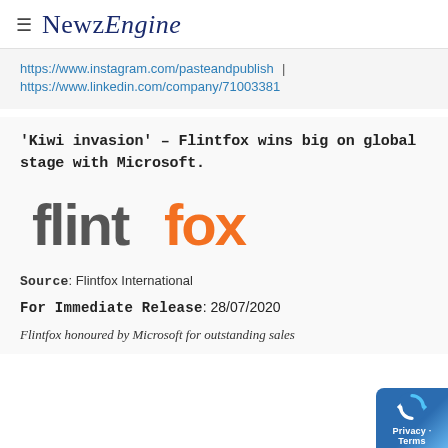≡ NewzEngine
https://www.instagram.com/pasteandpublish | https://www.linkedin.com/company/71003381
'Kiwi invasion' – Flintfox wins big on global stage with Microsoft.
[Figure (logo): Flintfox company logo — 'flint' in dark grey and 'fox' in orange, large bold sans-serif typeface]
Source: Flintfox International
For Immediate Release: 28/07/2020
Flintfox honoured by Microsoft for outstanding sales